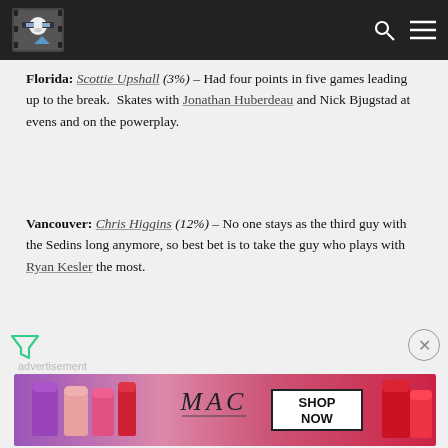[Navigation bar with site logo, search icon, and menu icon]
Florida: Scottie Upshall (3%) – Had four points in five games leading up to the break. Skates with Jonathan Huberdeau and Nick Bjugstad at evens and on the powerplay.
Vancouver: Chris Higgins (12%) – No one stays as the third guy with the Sedins long anymore, so best bet is to take the guy who plays with Ryan Kesler the most.
[Figure (other): Advertisement banner for MAC cosmetics showing lipsticks and SHOP NOW text]
advertisement